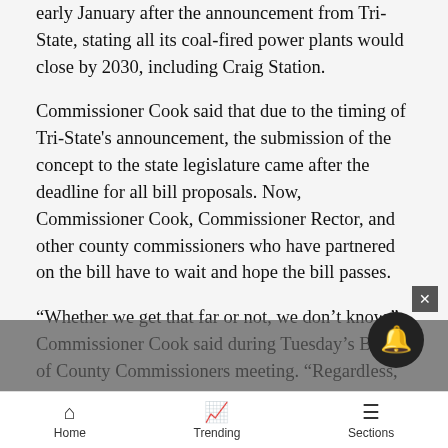Commissioner Schauer came up with the concept in early January after the announcement from Tri-State, stating all its coal-fired power plants would close by 2030, including Craig Station.
Commissioner Cook said that due to the timing of Tri-State's announcement, the submission of the concept to the state legislature came after the deadline for all bill proposals. Now, Commissioner Cook, Commissioner Rector, and other county commissioners who have partnered on the bill have to wait and hope the bill passes.
“Whether we get that far or not, we don’t know,” Commissioner Cook said during Tuesday’s Board of County Commissioners meeting. “Regardless, we’re going to keep pushing until they tell us no. Whether will pass or not, we don’t know, but we’re going to
Home   Trending   Sections